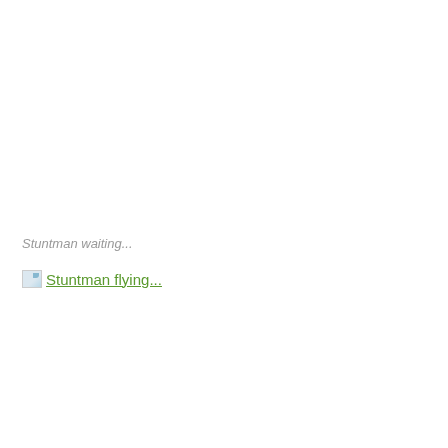Stuntman waiting...
[Figure (other): Broken image placeholder with link text 'Stuntman flying...' shown as an unloaded image with alt text link]